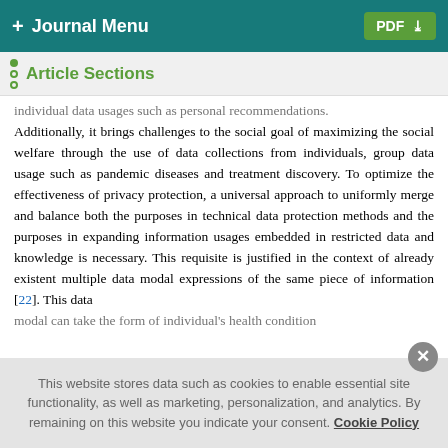+ Journal Menu | PDF
Article Sections
individual data usages such as personal recommendations. Additionally, it brings challenges to the social goal of maximizing the social welfare through the use of data collections from individuals, group data usage such as pandemic diseases and treatment discovery. To optimize the effectiveness of privacy protection, a universal approach to uniformly merge and balance both the purposes in technical data protection methods and the purposes in expanding information usages embedded in restricted data and knowledge is necessary. This requisite is justified in the context of already existent multiple data modal expressions of the same piece of information [22]. This data modal can take the form of individual's health condition
This website stores data such as cookies to enable essential site functionality, as well as marketing, personalization, and analytics. By remaining on this website you indicate your consent. Cookie Policy